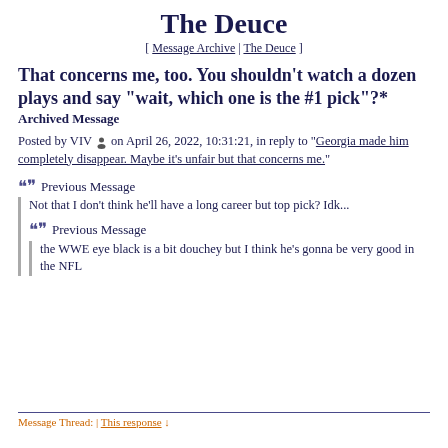The Deuce
[ Message Archive | The Deuce ]
That concerns me, too. You shouldn't watch a dozen plays and say "wait, which one is the #1 pick"?*
Archived Message
Posted by VIV 🧑 on April 26, 2022, 10:31:21, in reply to "Georgia made him completely disappear. Maybe it's unfair but that concerns me."
❝❝ Previous Message
Not that I don't think he'll have a long career but top pick? Idk...
❝❝ Previous Message
the WWE eye black is a bit douchey but I think he's gonna be very good in the NFL
Message Thread: | This response ↓